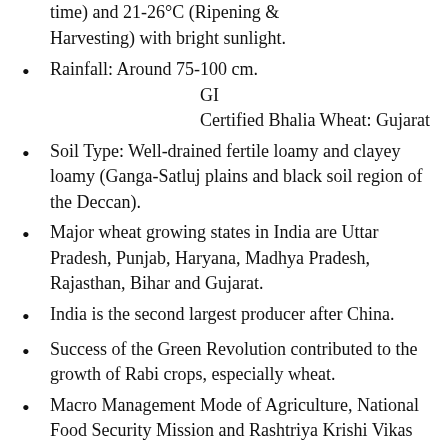time) and 21-26°C (Ripening & Harvesting) with bright sunlight.
Rainfall: Around 75-100 cm.    GI Certified Bhalia Wheat: Gujarat
Soil Type: Well-drained fertile loamy and clayey loamy (Ganga-Satluj plains and black soil region of the Deccan).
Major wheat growing states in India are Uttar Pradesh, Punjab, Haryana, Madhya Pradesh, Rajasthan, Bihar and Gujarat.
India is the second largest producer after China.
Success of the Green Revolution contributed to the growth of Rabi crops, especially wheat.
Macro Management Mode of Agriculture, National Food Security Mission and Rashtriya Krishi Vikas...